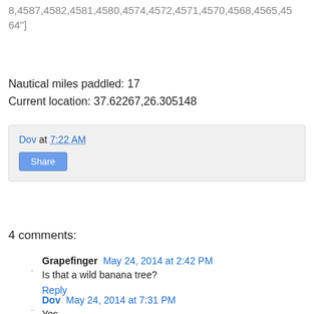8,4587,4582,4581,4580,4574,4572,4571,4570,4568,4565,4564"]
Nautical miles paddled: 17
Current location: 37.62267,26.305148
Dov at 7:22 AM
Share
4 comments:
Grapefinger  May 24, 2014 at 2:42 PM
Is that a wild banana tree?
Reply
Dov  May 24, 2014 at 7:31 PM
Yes.